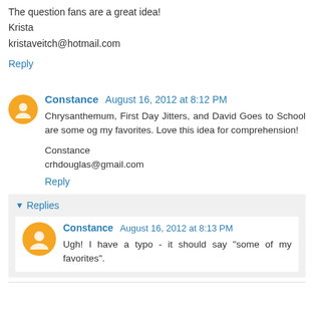The question fans are a great idea!
Krista
kristaveitch@hotmail.com
Reply
Constance  August 16, 2012 at 8:12 PM
Chrysanthemum, First Day Jitters, and David Goes to School are some og my favorites. Love this idea for comprehension!

Constance
crhdouglas@gmail.com
Reply
Replies
Constance  August 16, 2012 at 8:13 PM
Ugh! I have a typo - it should say "some of my favorites".